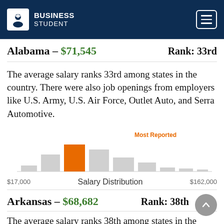BUSINESS STUDENT
Alabama – $71,545   Rank: 33rd
The average salary ranks 33rd among states in the country. There were also job openings from employers like U.S. Army, U.S. Air Force, Outlet Auto, and Serra Automotive.
[Figure (histogram): Salary Distribution]
Salary Distribution   $17,000   $162,000
Arkansas – $68,682   Rank: 38th
The average salary ranks 38th among states in the